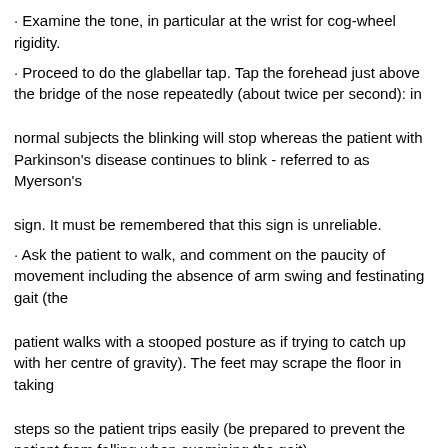· Examine the tone, in particular at the wrist for cog-wheel rigidity.
· Proceed to do the glabellar tap. Tap the forehead just above the bridge of the nose repeatedly (about twice per second): in normal subjects the blinking will stop whereas the patient with Parkinson's disease continues to blink - referred to as Myerson's sign. It must be remembered that this sign is unreliable.
· Ask the patient to walk, and comment on the paucity of movement including the absence of arm swing and festinating gait (the patient walks with a stooped posture as if trying to catch up with her centre of gravity). The feet may scrape the floor in taking steps so the patient trips easily (be prepared to prevent the patient from falling when examining the gait).
· Tell the examiner that you would like to:
-Ask the patient a few questions with a view to assessing her speech.
-Assess handwriting (tremulous and small, micrographia).
· Tell the examiner that you would like to look for:
-Postural hypotension (Shy-Drager syndrome, L-dopa treatment).
-Impaired vertical gaze (Steele-Richardson-Olzewski syndrome).
· Seborrhoea.